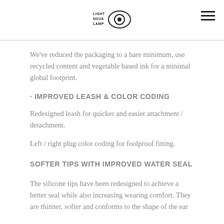LIGHT NOVA LAMP logo and menu icon
We've reduced the packaging to a bare minimum, use recycled content and vegetable based ink for a minimal global footprint.
· IMPROVED LEASH & COLOR CODING
Redesigned leash for quicker and easier attachment / detachment.
Left / right plug color coding for foolproof fitting.
SOFTER TIPS WITH IMPROVED WATER SEAL
The silicone tips have been redesigned to achieve a better seal while also increasing wearing comfort. They are thinner, softer and conforms to the shape of the ear